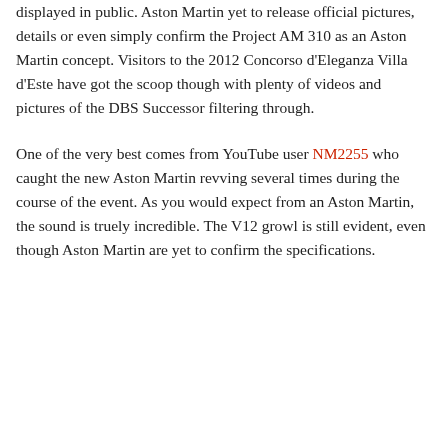displayed in public. Aston Martin yet to release official pictures, details or even simply confirm the Project AM 310 as an Aston Martin concept. Visitors to the 2012 Concorso d'Eleganza Villa d'Este have got the scoop though with plenty of videos and pictures of the DBS Successor filtering through.
One of the very best comes from YouTube user NM2255 who caught the new Aston Martin revving several times during the course of the event. As you would expect from an Aston Martin, the sound is truely incredible. The V12 growl is still evident, even though Aston Martin are yet to confirm the specifications.